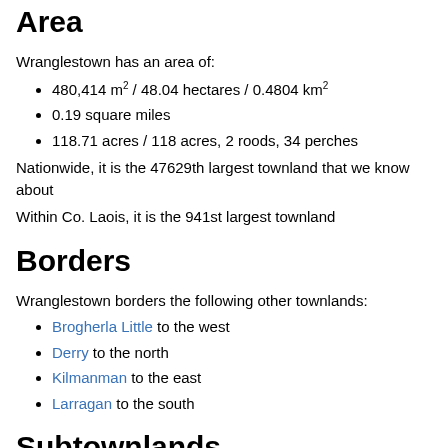Area
Wranglestown has an area of:
480,414 m² / 48.04 hectares / 0.4804 km²
0.19 square miles
118.71 acres / 118 acres, 2 roods, 34 perches
Nationwide, it is the 47629th largest townland that we know about
Within Co. Laois, it is the 941st largest townland
Borders
Wranglestown borders the following other townlands:
Brogherla Little to the west
Derry to the north
Kilmanman to the east
Larragan to the south
Subtownlands
We don't know about any subtownlands in Wranglestown.